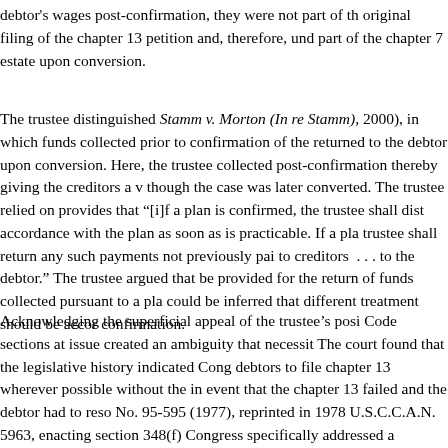debtor's wages post-confirmation, they were not part of the original filing of the chapter 13 petition and, therefore, und part of the chapter 7 estate upon conversion.
The trustee distinguished Stamm v. Morton (In re Stamm), 2000), in which funds collected prior to confirmation of the returned to the debtor upon conversion. Here, the trustee collected post-confirmation thereby giving the creditors a v though the case was later converted. The trustee relied on provides that "[i]f a plan is confirmed, the trustee shall dist accordance with the plan as soon as is practicable. If a pla trustee shall return any such payments not previously pai to creditors . . . to the debtor." The trustee argued that be provided for the return of funds collected pursuant to a pla could be inferred that different treatment should be accor confirmation.
Acknowledging the superficial appeal of the trustee's posi Code sections at issue created an ambiguity that necessit The court found that the legislative history indicated Cong debtors to file chapter 13 wherever possible without the in event that the chapter 13 failed and the debtor had to reso No. 95-595 (1977), reprinted in 1978 U.S.C.C.A.N. 5963, enacting section 348(f) Congress specifically addressed a